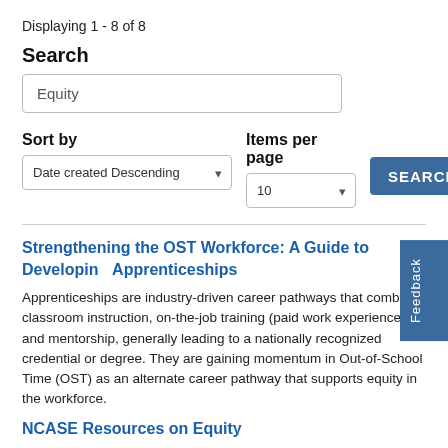Displaying 1 - 8 of 8
Search
Equity
Sort by
Items per page
Date created Descending
10
SEARCH
Strengthening the OST Workforce: A Guide to Developing Apprenticeships
Apprenticeships are industry-driven career pathways that combine classroom instruction, on-the-job training (paid work experience), and mentorship, generally leading to a nationally recognized credential or degree. They are gaining momentum in Out-of-School Time (OST) as an alternate career pathway that supports equity in the workforce.
NCASE Resources on Equity